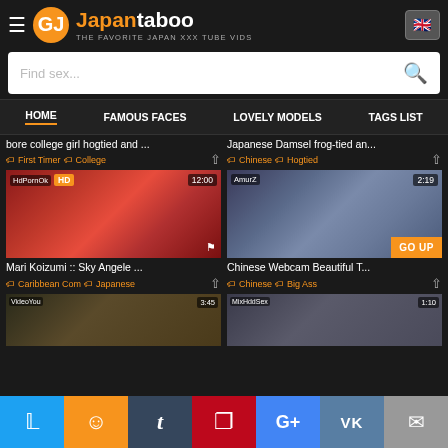GJ Japantaboo - THE FAVORITE JAPAN XXX TUBE VIDS
HOME | FAMOUS FACES | LOVELY MODELS | TAGS LIST
bore college girl hogtied and ...
Japanese Damsel frog-tied an...
Tags: First Timer, College
Tags: Chinese, Hogtied
[Figure (photo): Video thumbnail - Mari Koizumi :: Sky Angele ... | HdPornOk | HD | 12:00]
[Figure (photo): Video thumbnail - Chinese Webcam Beautiful T... | AmurZ | 2:19]
Mari Koizumi :: Sky Angele ...
Chinese Webcam Beautiful T...
Tags: Caribbean Com, Japanese
Tags: Chinese, Big Ass
[Figure (photo): Video thumbnail - VideoYou | 3:45]
[Figure (photo): Video thumbnail - MixHddSex | 1:10]